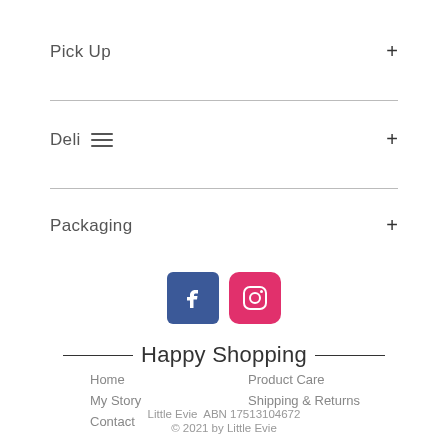Pick Up  +
Delivery  +
Packaging  +
[Figure (logo): Facebook and Instagram social media icons side by side]
Happy Shopping
Home
My Story
Contact
Product Care
Shipping & Returns
Little Evie  ABN 17513104672
© 2021 by Little Evie